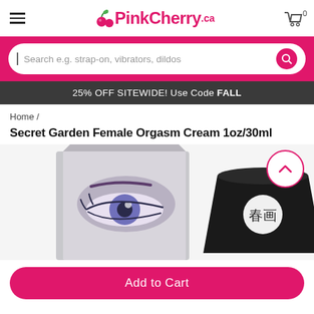PinkCherry.ca
Search e.g. strap-on, vibrators, dildos
25% OFF SITEWIDE! Use Code FALL
Home /
Secret Garden Female Orgasm Cream 1oz/30ml
[Figure (photo): Product photo of Secret Garden Female Orgasm Cream 1oz/30ml — a black jar with a circular white logo bearing Japanese characters, shown next to its box packaging featuring a woman's eye illustration]
Add to Cart